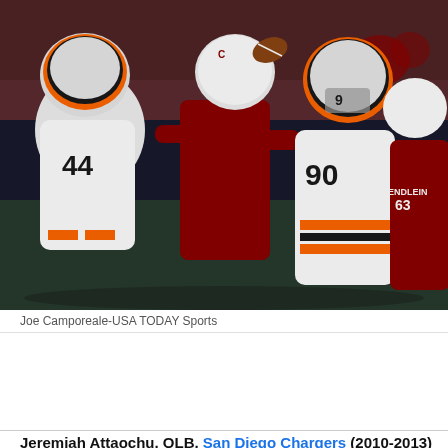[Figure (photo): NFL football action photo showing Arizona Cardinals quarterback in red jersey being pressured by Cincinnati Bengals defenders wearing white jerseys with orange and black tiger stripes. Numbers visible include 44, 90, 63. Player name SENDLEIN visible on right. Indoor stadium with crowd in background.]
Joe Camporeale-USA TODAY Sports
Jeremiah Attaochu, OLB, San Diego Chargers (2010-2013)